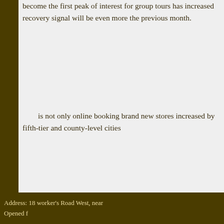become the first peak of interest... for group tours has increased... recovery signal will be even m... the previous month.
is not only online bookin... brand new stores increased b... fifth-tier and county-level citie...
As the first small holida... visits was released on the Ch... a boost to the subsequent re... history."
Prev:World Tourism Organiza...
→ Go Back
Address: 18 worker's Road West, nea... Opened f...